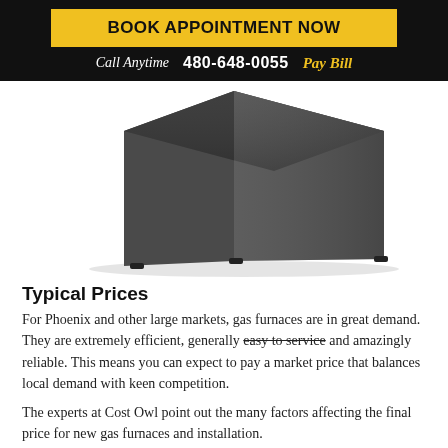BOOK APPOINTMENT NOW
Call Anytime  480-648-0055  Pay Bill
[Figure (photo): Photo of a dark grey metal gas furnace unit, viewed from a low angle showing the bottom and side panels against a white background.]
Typical Prices
For Phoenix and other large markets, gas furnaces are in great demand. They are extremely efficient, generally easy to service and amazingly reliable. This means you can expect to pay a market price that balances local demand with keen competition.
The experts at Cost Owl point out the many factors affecting the final price for new gas furnaces and installation.